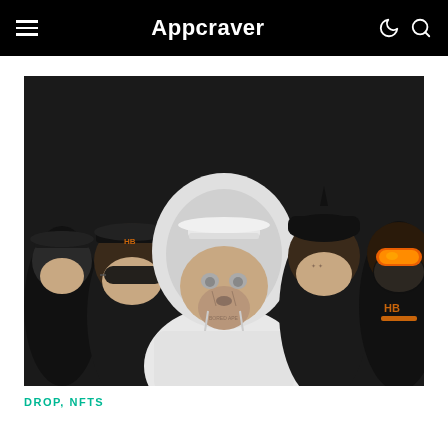Appcraver
[Figure (photo): Group of stylized NFT ape characters dressed in streetwear. Center ape wears a white fuzzy hoodie with a white cap. Surrounding apes wear dark clothing, sunglasses, hats, and accessories including orange goggles and 'HB' logo patches. Dark background.]
DROP, NFTS